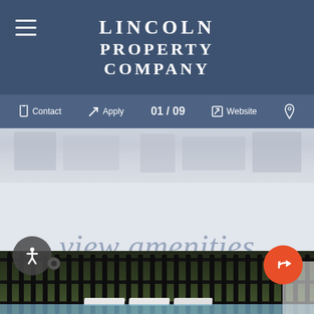Lincoln Property Company
Contact  Apply  01 / 09  Website
[Figure (screenshot): Blurry street/building photo strip behind navigation overlay]
view amenities
[Figure (photo): Outdoor pool area with black iron fence, lounge chairs, green lawn and trees in background]